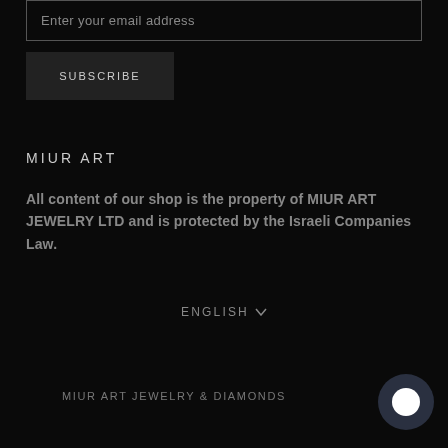Enter your email address
SUBSCRIBE
MIUR ART
All content of our shop is the property of MIUR ART JEWELRY LTD and is protected by the Israeli Companies Law.
ENGLISH ∨
MIUR ART JEWELRY & DIAMONDS